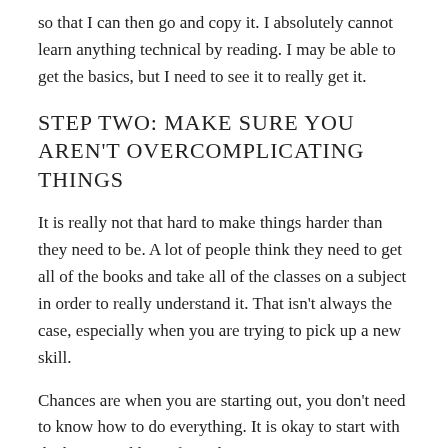so that I can then go and copy it. I absolutely cannot learn anything technical by reading. I may be able to get the basics, but I need to see it to really get it.
STEP TWO: MAKE SURE YOU AREN'T OVERCOMPLICATING THINGS
It is really not that hard to make things harder than they need to be. A lot of people think they need to get all of the books and take all of the classes on a subject in order to really understand it. That isn't always the case, especially when you are trying to pick up a new skill.
Chances are when you are starting out, you don't need to know how to do everything. It is okay to start with the basics and learn from there.
Part of this ties in with the whole knowing your learning